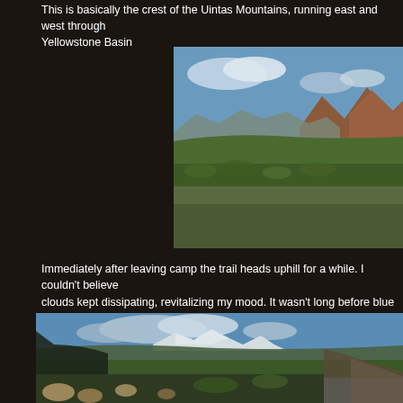This is basically the crest of the Uintas Mountains, running east and west through the Yellowstone Basin
[Figure (photo): Panoramic view of the Uinta Mountains crest showing open alpine meadows with reddish-brown peaks in the background under a partly cloudy blue sky]
Immediately after leaving camp the trail heads uphill for a while. I couldn’t believe the clouds kept dissipating, revitalizing my mood. It wasn’t long before blue skies were out, treeline was below and I was on the final “shelf” leading up to Anderson Pass. Lo and behold, summit King’s Peak after all!
[Figure (photo): Wide alpine valley vista looking toward distant snow-capped peaks, with rocky foreground terrain and green meadow below under blue sky with clouds]